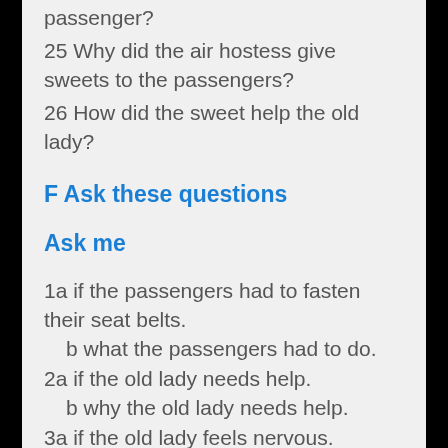passenger?
25 Why did the air hostess give sweets to the passengers?
26 How did the sweet help the old lady?
F Ask these questions
Ask me
1a if the passengers had to fasten their seat belts.
b what the passengers had to do.
2a if the old lady needs help.
b why the old lady needs help.
3a if the old lady feels nervous.
b how she fe...